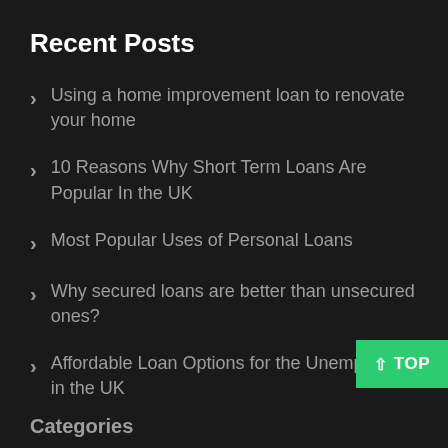Recent Posts
Using a home improvement loan to renovate your home
10 Reasons Why Short Term Loans Are Popular In the UK
Most Popular Uses of Personal Loans
Why secured loans are better than unsecured ones?
Affordable Loan Options for the Unemployed in the UK